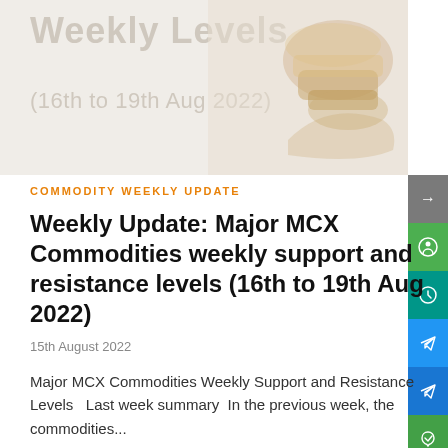[Figure (illustration): Banner image with faded text 'Weekly Levels' and '(16th to 19th Aug 2022)' on a light beige background with a decorative image of commodities on the right side]
COMMODITY WEEKLY UPDATE
Weekly Update: Major MCX Commodities weekly support and resistance levels (16th to 19th Aug 2022)
15th August 2022
Major MCX Commodities Weekly Support and Resistance Levels   Last week summary   In the previous week, the commodities...